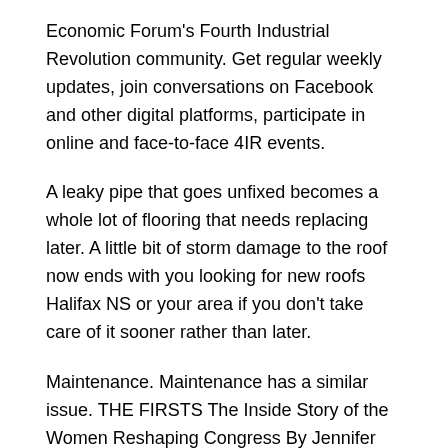Economic Forum's Fourth Industrial Revolution community. Get regular weekly updates, join conversations on Facebook and other digital platforms, participate in online and face-to-face 4IR events.
A leaky pipe that goes unfixed becomes a whole lot of flooring that needs replacing later. A little bit of storm damage to the roof now ends with you looking for new roofs Halifax NS or your area if you don't take care of it sooner rather than later.
Maintenance. Maintenance has a similar issue. THE FIRSTS The Inside Story of the Women Reshaping Congress By Jennifer Steinhauer.
This year brings not only a presidential election but also the centennial of the 19th Amendment's ratification Author: Ellen Fitzpatrick. Search the world's most comprehensive index of full-text books. My library. Home of family-friendly, safe, affordable local entertainment and three-time champion York Revolution Professional Baseball.
Project for a Revolution in New York book. Read 23 reviews from the world's largest community for readers. Project for a Revolution in...